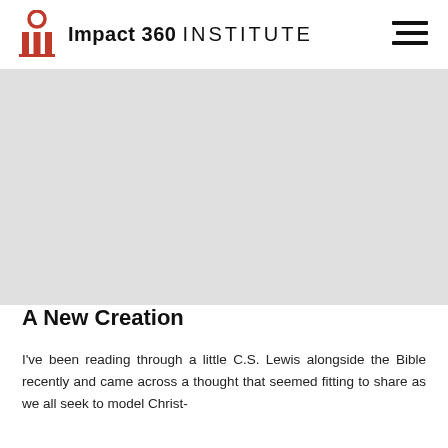Impact 360 INSTITUTE
[Figure (photo): Gray placeholder image area for a hero/featured image]
A New Creation
I've been reading through a little C.S. Lewis alongside the Bible recently and came across a thought that seemed fitting to share as we all seek to model Christ-